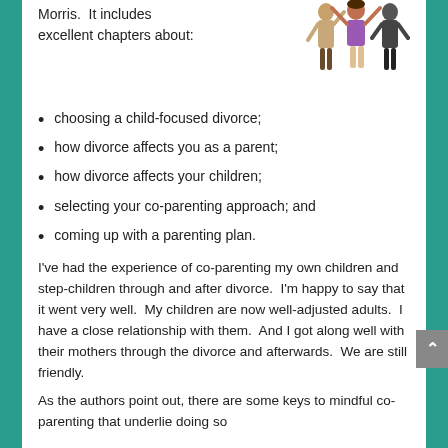Morris.  It includes excellent chapters about:
[Figure (illustration): Cartoon illustration of a family with two adults and a child with arms raised]
choosing a child-focused divorce;
how divorce affects you as a parent;
how divorce affects your children;
selecting your co-parenting approach; and
coming up with a parenting plan.
I've had the experience of co-parenting my own children and step-children through and after divorce.  I'm happy to say that it went very well.  My children are now well-adjusted adults.  I have a close relationship with them.  And I got along well with their mothers through the divorce and afterwards.  We are still friendly.
As the authors point out, there are some keys to mindful co-parenting that underlie doing so